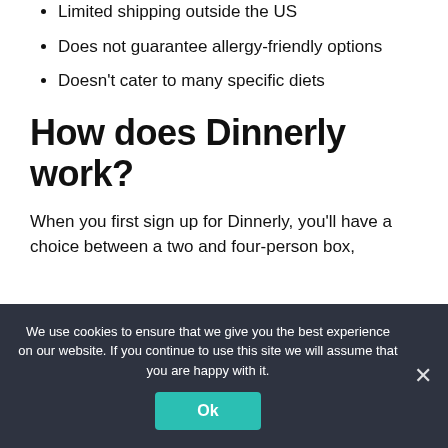Limited shipping outside the US
Does not guarantee allergy-friendly options
Doesn't cater to many specific diets
How does Dinnerly work?
When you first sign up for Dinnerly, you'll have a choice between a two and four-person box,
We use cookies to ensure that we give you the best experience on our website. If you continue to use this site we will assume that you are happy with it.